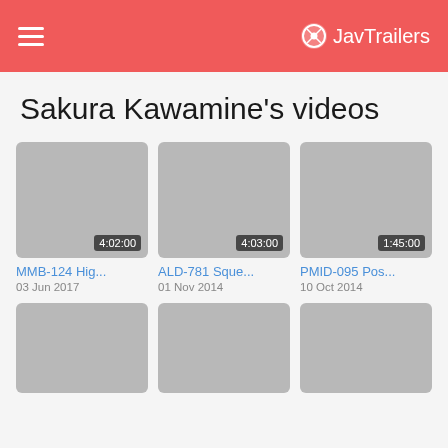JavTrailers
Sakura Kawamine's videos
[Figure (screenshot): Video thumbnail placeholder (gray rectangle) with duration 4:02:00]
MMB-124 Hig...
03 Jun 2017
[Figure (screenshot): Video thumbnail placeholder (gray rectangle) with duration 4:03:00]
ALD-781 Sque...
01 Nov 2014
[Figure (screenshot): Video thumbnail placeholder (gray rectangle) with duration 1:45:00]
PMID-095 Pos...
10 Oct 2014
[Figure (screenshot): Video thumbnail placeholder (gray rectangle), row 2 left]
[Figure (screenshot): Video thumbnail placeholder (gray rectangle), row 2 center]
[Figure (screenshot): Video thumbnail placeholder (gray rectangle), row 2 right]